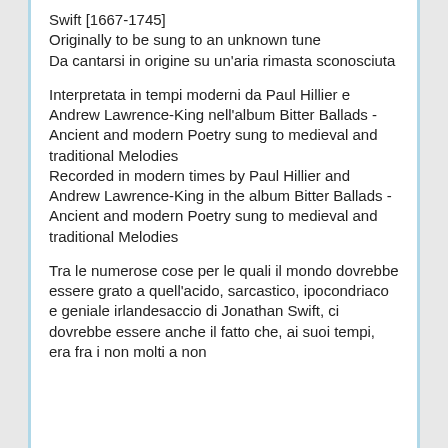Swift [1667-1745]
Originally to be sung to an unknown tune
Da cantarsi in origine su un'aria rimasta sconosciuta
Interpretata in tempi moderni da Paul Hillier e Andrew Lawrence-King nell'album Bitter Ballads - Ancient and modern Poetry sung to medieval and traditional Melodies
Recorded in modern times by Paul Hillier and Andrew Lawrence-King in the album Bitter Ballads - Ancient and modern Poetry sung to medieval and traditional Melodies
Tra le numerose cose per le quali il mondo dovrebbe essere grato a quell'acido, sarcastico, ipocondriaco e geniale irlandesaccio di Jonathan Swift, ci dovrebbe essere anche il fatto che, ai suoi tempi, era fra i non molti a non